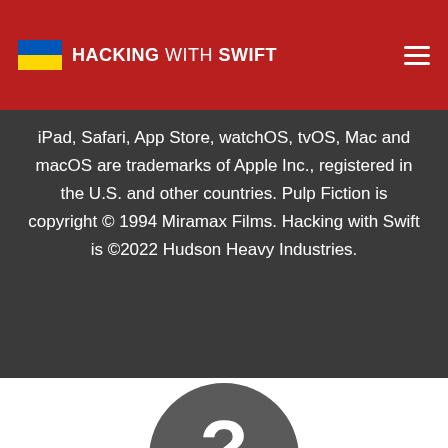HACKING WITH SWIFT
iPad, Safari, App Store, watchOS, tvOS, Mac and macOS are trademarks of Apple Inc., registered in the U.S. and other countries. Pulp Fiction is copyright © 1994 Miramax Films. Hacking with Swift is ©2022 Hudson Heavy Industries.
[Figure (illustration): A dark grey circular icon with a white question mark, partially visible at the bottom of the page]